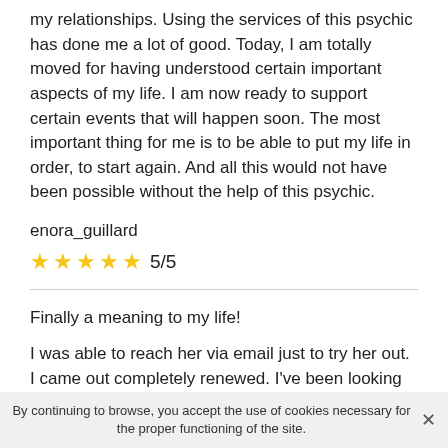my relationships. Using the services of this psychic has done me a lot of good. Today, I am totally moved for having understood certain important aspects of my life. I am now ready to support certain events that will happen soon. The most important thing for me is to be able to put my life in order, to start again. And all this would not have been possible without the help of this psychic.
enora_guillard
★★★★★ 5/5
Finally a meaning to my life!
I was able to reach her via email just to try her out. I came out completely renewed. I've been looking for a serious psychic for a long time and I've only come across
By continuing to browse, you accept the use of cookies necessary for the proper functioning of the site.